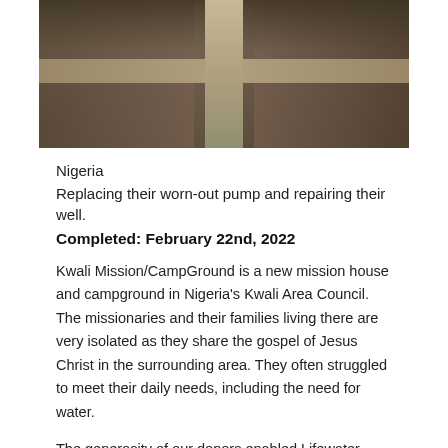[Figure (photo): Overhead or close-up photo of an excavated well or construction site showing a cross/T-shaped channel dug into sandy/rocky ground in Nigeria.]
Nigeria
Replacing their worn-out pump and repairing their well.
Completed: February 22nd, 2022
Kwali Mission/CampGround is a new mission house and campground in Nigeria's Kwali Area Council. The missionaries and their families living there are very isolated as they share the gospel of Jesus Christ in the surrounding area. They often struggled to meet their daily needs, including the need for water.
The generosity of our donors enabled Lifewater Canada to drill a well that is exhibiting the love of Christ by